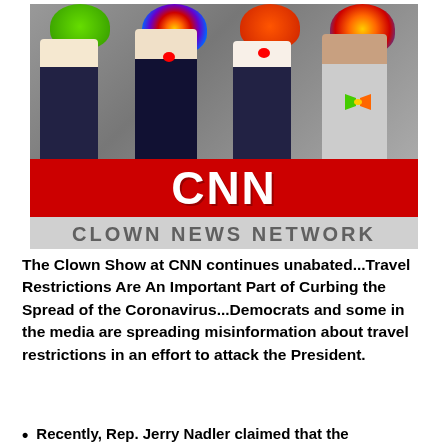[Figure (photo): Photoshopped image of four men in suits wearing colorful clown wigs, with a CNN logo on a red bar and 'CLOWN NEWS NETWORK' text below on a gray bar.]
The Clown Show at CNN continues unabated...Travel Restrictions Are An Important Part of Curbing the Spread of the Coronavirus...Democrats and some in the media are spreading misinformation about travel restrictions in an effort to attack the President.
Recently, Rep. Jerry Nadler claimed that the